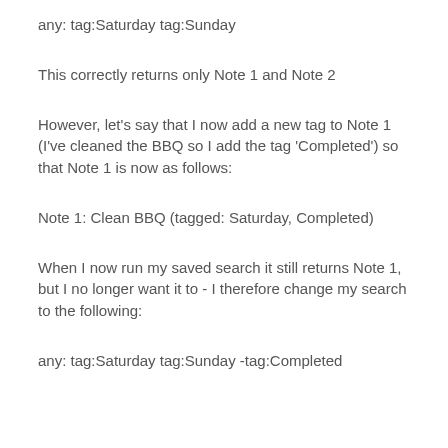any: tag:Saturday tag:Sunday
This correctly returns only Note 1 and Note 2
However, let's say that I now add a new tag to Note 1 (I've cleaned the BBQ so I add the tag 'Completed') so that Note 1 is now as follows:
Note 1: Clean BBQ (tagged: Saturday, Completed)
When I now run my saved search it still returns Note 1, but I no longer want it to - I therefore change my search to the following:
any: tag:Saturday tag:Sunday -tag:Completed